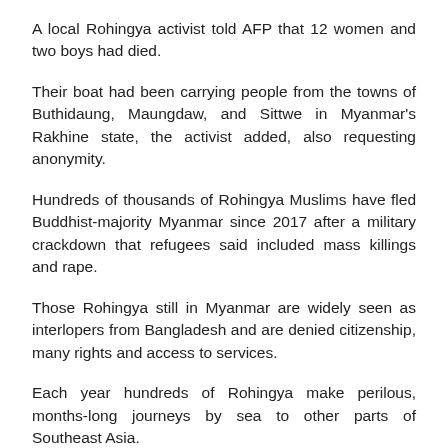A local Rohingya activist told AFP that 12 women and two boys had died.
Their boat had been carrying people from the towns of Buthidaung, Maungdaw, and Sittwe in Myanmar's Rakhine state, the activist added, also requesting anonymity.
Hundreds of thousands of Rohingya Muslims have fled Buddhist-majority Myanmar since 2017 after a military crackdown that refugees said included mass killings and rape.
Those Rohingya still in Myanmar are widely seen as interlopers from Bangladesh and are denied citizenship, many rights and access to services.
Each year hundreds of Rohingya make perilous, months-long journeys by sea to other parts of Southeast Asia.
Relatively affluent Malaysia is usually the favoured destination, but they also often end up in Indonesia.